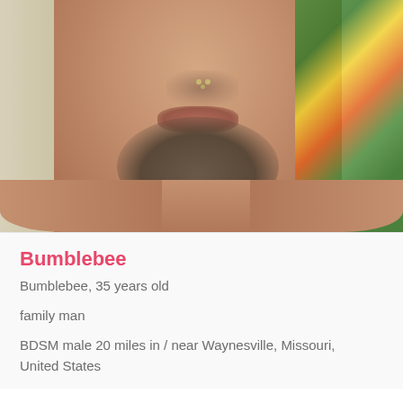[Figure (photo): Close-up selfie photo of a man with a beard and nose piercing, shirtless, with a colorful fabric visible in the top right corner]
Bumblebee
Bumblebee, 35 years old
family man
BDSM male 20 miles in / near Waynesville, Missouri, United States